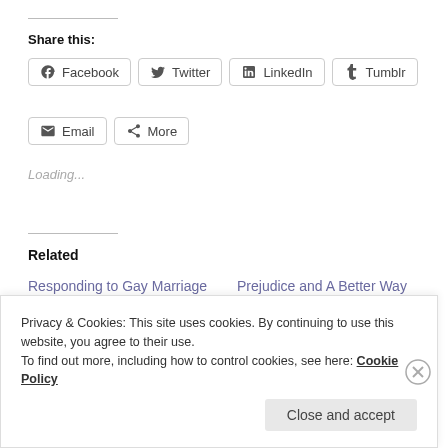Share this:
Facebook  Twitter  LinkedIn  Tumblr  Email  More
Loading...
Related
Responding to Gay Marriage
June 27, 2015
Prejudice and A Better Way
October 14, 2013
Privacy & Cookies: This site uses cookies. By continuing to use this website, you agree to their use.
To find out more, including how to control cookies, see here: Cookie Policy
Close and accept